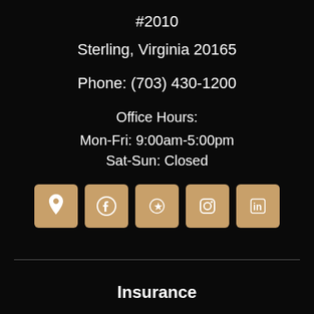#2010
Sterling, Virginia 20165
Phone: (703) 430-1200
Office Hours:
Mon-Fri: 9:00am-5:00pm
Sat-Sun: Closed
[Figure (other): Row of five social media icon buttons (location pin, Facebook, Yelp, Instagram, LinkedIn) on tan/gold square backgrounds]
Insurance
Personal Insurance